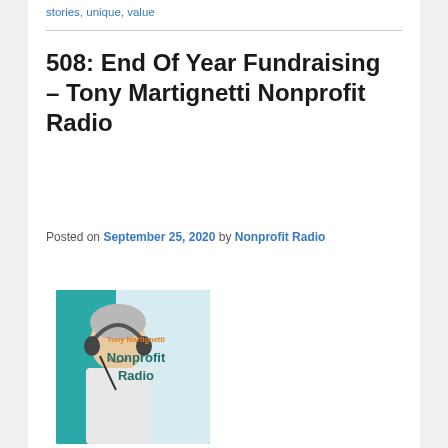stories, unique, value
508: End Of Year Fundraising – Tony Martignetti Nonprofit Radio
Posted on September 25, 2020 by Nonprofit Radio
[Figure (photo): Podcast cover art for Tony Martignetti Nonprofit Radio showing a man wearing headphones smiling, with teal background and the text 'Tony Martignetti Nonprofit Radio' in orange and teal letters]